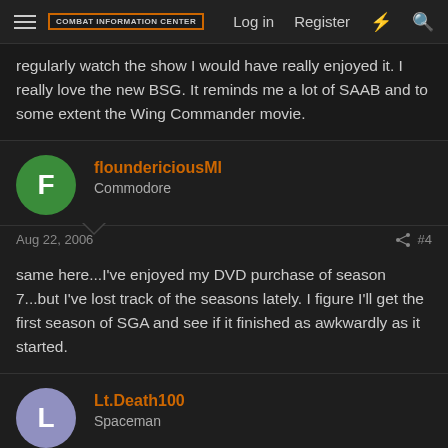COMBAT INFORMATION CENTER | Log in | Register
regularly watch the show I would have really enjoyed it. I really love the new BSG. It reminds me a lot of SAAB and to some extent the Wing Commander movie.
floundericiousMI
Commodore
Aug 22, 2006 #4
same here...I've enjoyed my DVD purchase of season 7...but I've lost track of the seasons lately. I figure I'll get the first season of SGA and see if it finished as awkwardly as it started.
Lt.Death100
Spaceman
Aug 22, 2006 #5